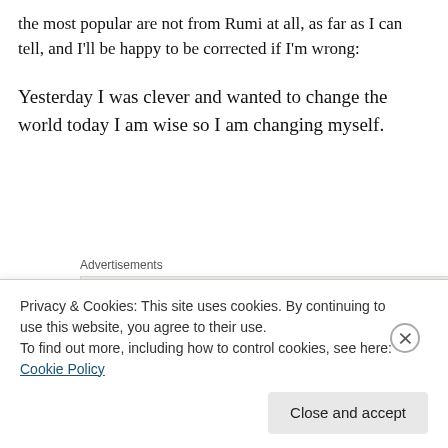the most popular are not from Rumi at all, as far as I can tell, and I'll be happy to be corrected if I'm wrong:
Yesterday I was clever and wanted to change the world today I am wise so I am changing myself.
Advertisements
Professionally designed sites
Who is this? Gandhi perhaps?
Your task is not to seek for love but merely to seek and
Privacy & Cookies: This site uses cookies. By continuing to use this website, you agree to their use.
To find out more, including how to control cookies, see here: Cookie Policy
Close and accept